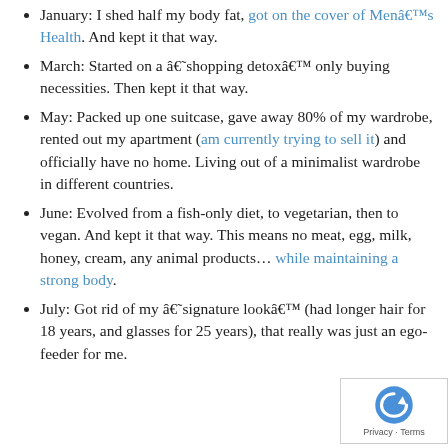January: I shed half my body fat, got on the cover of Menâs Health. And kept it that way.
March: Started on a â˜shopping detoxâ only buying necessities. Then kept it that way.
May: Packed up one suitcase, gave away 80% of my wardrobe, rented out my apartment (am currently trying to sell it) and officially have no home. Living out of a minimalist wardrobe in different countries.
June: Evolved from a fish-only diet, to vegetarian, then to vegan. And kept it that way. This means no meat, egg, milk, honey, cream, any animal products… while maintaining a strong body.
July: Got rid of my â˜signature lookâ (had longer hair for 18 years, and glasses for 25 years), that really was just an ego-feeder for me.